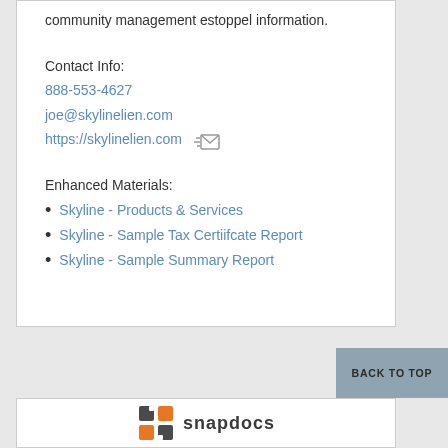community management estoppel information.
Contact Info:
888-553-4627
joe@skylinelien.com
https://skylinelien.com
Enhanced Materials:
Skyline - Products & Services
Skyline - Sample Tax Certiifcate Report
Skyline - Sample Summary Report
BACK TO TOP
[Figure (logo): Snapdocs logo with icon and text 'snapdocs']